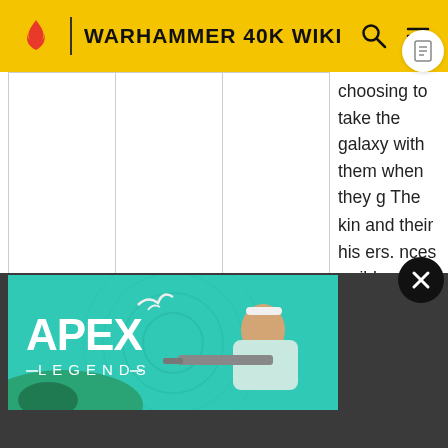WARHAMMER 40K WIKI
choosing to take the galaxy with them when they g The Masque of the Shattered Mirage are ghosts of the Webway, the embodiment of the Laughing God's maudlin mirth in the face of his race's demise. Both their kin and their his ers. nces errible conveying only
[Figure (photo): Apex Legends advertisement banner showing a character with a sniper rifle against a teal background]
conveying only